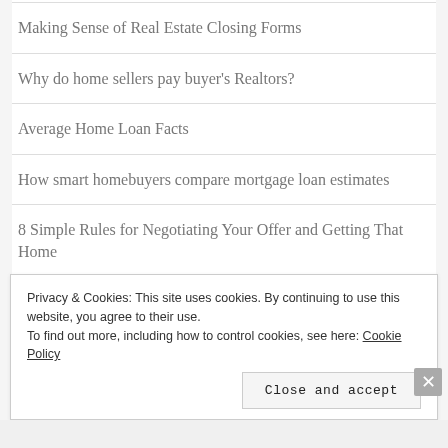Making Sense of Real Estate Closing Forms
Why do home sellers pay buyer's Realtors?
Average Home Loan Facts
How smart homebuyers compare mortgage loan estimates
8 Simple Rules for Negotiating Your Offer and Getting That Home
Privacy & Cookies: This site uses cookies. By continuing to use this website, you agree to their use. To find out more, including how to control cookies, see here: Cookie Policy
Close and accept